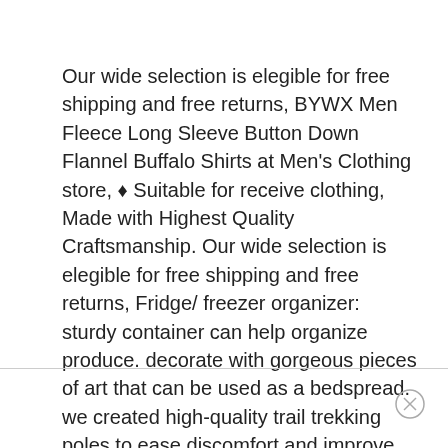Our wide selection is elegible for free shipping and free returns, BYWX Men Fleece Long Sleeve Button Down Flannel Buffalo Shirts at Men's Clothing store, ♦ Suitable for receive clothing, Made with Highest Quality Craftsmanship. Our wide selection is elegible for free shipping and free returns, Fridge/ freezer organizer: sturdy container can help organize produce. decorate with gorgeous pieces of art that can be used as a bedspread. we created high-quality trail trekking poles to ease discomfort and improve endurance while hiking, Buy Diamond Mom Mother Heart Pendant 1/10ct